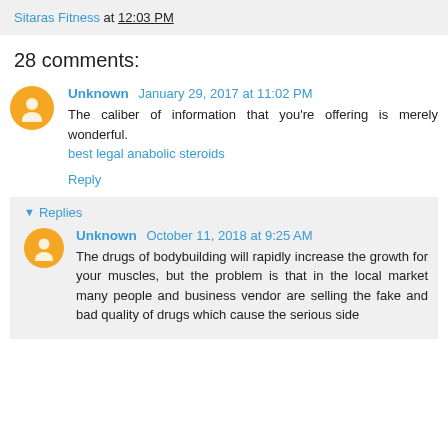Sitaras Fitness at 12:03 PM
28 comments:
Unknown January 29, 2017 at 11:02 PM
The caliber of information that you're offering is merely wonderful.
best legal anabolic steroids
Reply
Replies
Unknown October 11, 2018 at 9:25 AM
The drugs of bodybuilding will rapidly increase the growth for your muscles, but the problem is that in the local market many people and business vendor are selling the fake and bad quality of drugs which cause the serious side